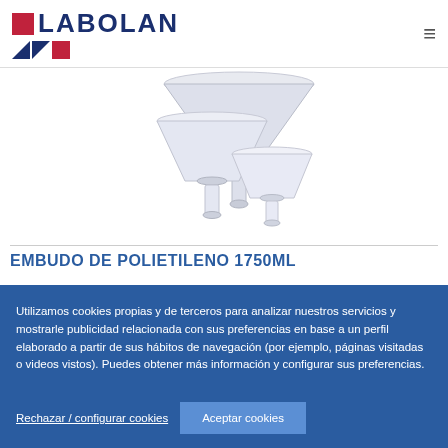[Figure (logo): Labolan company logo with red square, blue text LABOLAN, and geometric triangles/square below]
[Figure (photo): Three white polyethylene funnels of different sizes arranged together on white background]
EMBUDO DE POLIETILENO 1750ML
Utilizamos cookies propias y de terceros para analizar nuestros servicios y mostrarle publicidad relacionada con sus preferencias en base a un perfil elaborado a partir de sus hábitos de navegación (por ejemplo, páginas visitadas o videos vistos). Puedes obtener más información y configurar sus preferencias.
Rechazar / configurar cookies
Aceptar cookies